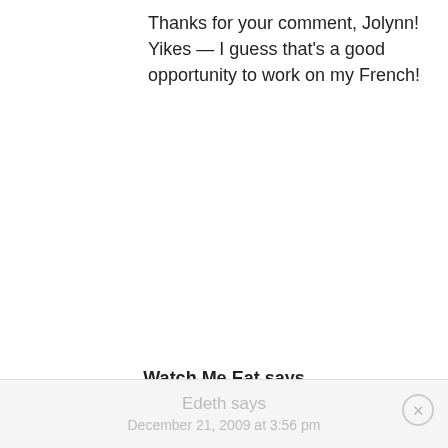Thanks for your comment, Jolynn! Yikes — I guess that's a good opportunity to work on my French!
Watch Me Eat says
December 21, 2009 at 12:59 pm
They definitely have some of the best pastries in Orlando, in or out of Disney. I just wish buying the baked goods here didn't require an $80 admission ticket…
Edeth says
December 21, 2009 at 3:56 pm